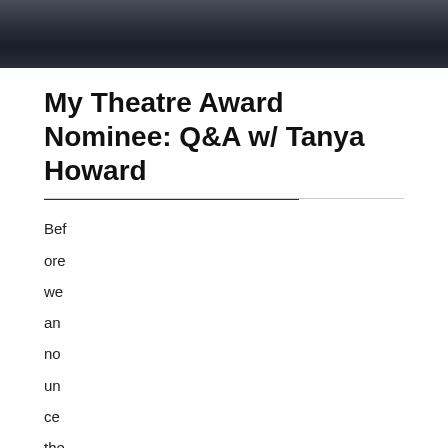[Figure (photo): Top portion of a cropped photograph showing a person with dark background, partially cut off at the top of the page.]
My Theatre Award Nominee: Q&A w/ Tanya Howard
Before we announce the winners of the 2014 My Theatre Awards, we're proud to